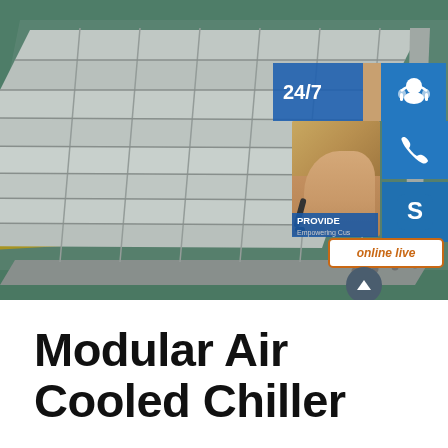[Figure (photo): Industrial modular air cooled chiller unit — large rectangular metallic grid/fin structure laid on a green factory floor with yellow painted lines. Overlaid on the right side is a customer service UI panel with a 24/7 label, headset icon, phone icon, Skype icon, a photo of a woman wearing a headset, 'PROVIDE' text, 'Empowering Customers' subtext, and an 'online live' button. A scroll-up chevron button is also visible.]
Modular Air Cooled Chiller